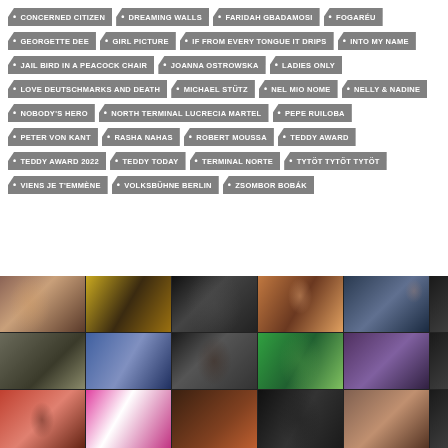CONCERNED CITIZEN
DREAMING WALLS
FARIDAH GBADAMOSI
FOGARÉU
GEORGETTE DEE
GIRL PICTURE
IF FROM EVERY TONGUE IT DRIPS
INTO MY NAME
JAIL BIRD IN A PEACOCK CHAIR
JOANNA OSTROWSKA
LADIES ONLY
LOVE DEUTSCHMARKS AND DEATH
MICHAEL STÜTZ
NEL MIO NOME
NELLY & NADINE
NOBODY'S HERO
NORTH TERMINAL LUCRECIA MARTEL
PEPE RUILOBA
PETER VON KANT
RASHA NAHAS
ROBERT MOUSSA
TEDDY AWARD
TEDDY AWARD 2022
TEDDY TODAY
TERMINAL NORTE
TYTÖT TYTÖT TYTÖT
VIENS JE T'EMMÈNE
VOLKSBÜHNE BERLIN
ZSOMBOR BOBÁK
[Figure (photo): Collage of film stills showing various characters and scenes from films in a grid layout at the bottom of the page]